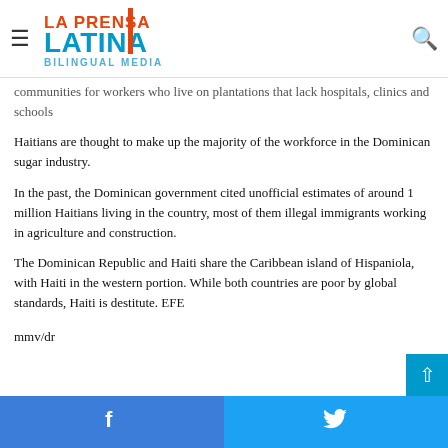La Prensa Latina Bilingual Media — navigation bar with logo, hamburger menu, and search icon
communities for workers who live on plantations that lack hospitals, clinics and schools
Haitians are thought to make up the majority of the workforce in the Dominican sugar industry.
In the past, the Dominican government cited unofficial estimates of around 1 million Haitians living in the country, most of them illegal immigrants working in agriculture and construction.
The Dominican Republic and Haiti share the Caribbean island of Hispaniola, with Haiti in the western portion. While both countries are poor by global standards, Haiti is destitute. EFE
mmv/dr
Facebook share button | Twitter share button